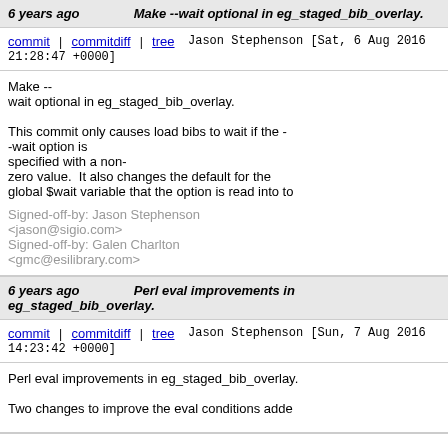6 years ago  Make --wait optional in eg_staged_bib_overlay.
commit | commitdiff | tree    Jason Stephenson [Sat, 6 Aug 2016 21:28:47 +0000]
Make --
wait optional in eg_staged_bib_overlay.

This commit only causes load bibs to wait if the --wait option is
specified with a non-
zero value.  It also changes the default for the
global $wait variable that the option is read into to

Signed-off-by: Jason Stephenson <jason@sigio.com>
Signed-off-by: Galen Charlton <gmc@esilibrary.com>
6 years ago  Perl eval improvements in eg_staged_bib_overlay.
commit | commitdiff | tree    Jason Stephenson [Sun, 7 Aug 2016 14:23:42 +0000]
Perl eval improvements in eg_staged_bib_overlay.

Two changes to improve the eval conditions adde